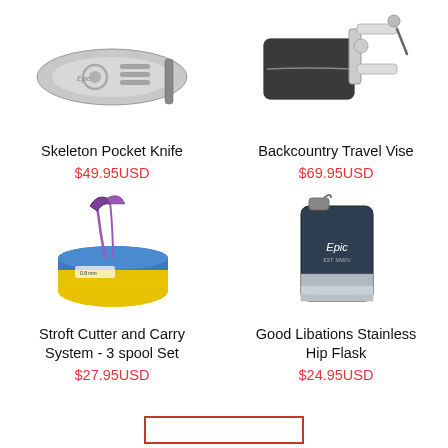[Figure (photo): Skeleton Pocket Knife - silver metallic folding knife with circular opening]
Skeleton Pocket Knife
$49.95USD
[Figure (photo): Backcountry Travel Vise - dark grey case with vise tool beside it]
Backcountry Travel Vise
$69.95USD
[Figure (photo): Stroft Cutter and Carry System - 3 spool Set, yellow/blue spool with purple line cutter]
Stroft Cutter and Carry System - 3 spool Set
$27.95USD
[Figure (photo): Good Libations Stainless Hip Flask - dark blue/silver flask with Epic branding]
Good Libations Stainless Hip Flask
$24.95USD